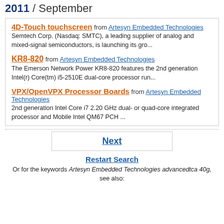2011 / September
4D-Touch touchscreen from Artesyn Embedded Technologies
Semtech Corp. (Nasdaq: SMTC), a leading supplier of analog and mixed-signal semiconductors, is launching its gro...
KR8-820 from Artesyn Embedded Technologies
The Emerson Network Power KR8-820 features the 2nd generation Intel(r) Core(tm) i5-2510E dual-core processor run...
VPX/OpenVPX Processor Boards from Artesyn Embedded Technologies
2nd generation Intel Core i7 2.20 GHz dual- or quad-core integrated processor and Mobile Intel QM67 PCH ...
Next
Restart Search
Or for the keywords Artesyn Embedded Technologies advancedtca 40g, see also: